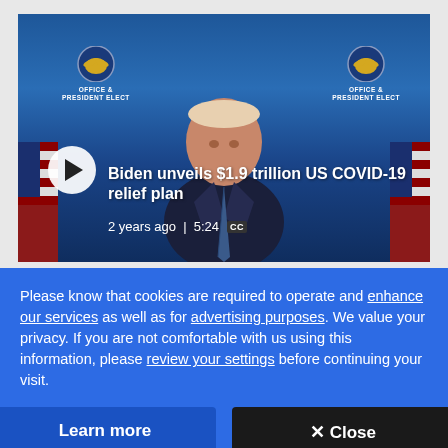[Figure (screenshot): Video thumbnail showing President-elect Joe Biden at a podium against a blue background with 'Office of President Elect' seals on either side. A play button is overlaid on the lower left. The video title reads 'Biden unveils $1.9 trillion US COVID-19 relief plan', with metadata '2 years ago | 5:24 CC'.]
Please know that cookies are required to operate and enhance our services as well as for advertising purposes. We value your privacy. If you are not comfortable with us using this information, please review your settings before continuing your visit.
Learn more
✕ Close